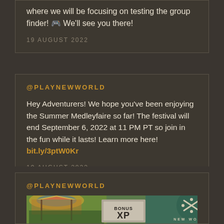where we will be focusing on testing the group finder! 🎮 We'll see you there!
19 AUGUST 2022
@PLAYNEWWORLD
Hey Adventurers! We hope you've been enjoying the Summer Medleyfaire so far! The festival will end September 6, 2022 at 11 PM PT so join in the fun while it lasts! Learn more here! bit.ly/3ptW0Kr
19 AUGUST 2022
@PLAYNEWWORLD
[Figure (photo): Promotional image for New World game showing festive summer fair scenery with a BONUS XP badge and New World logo]